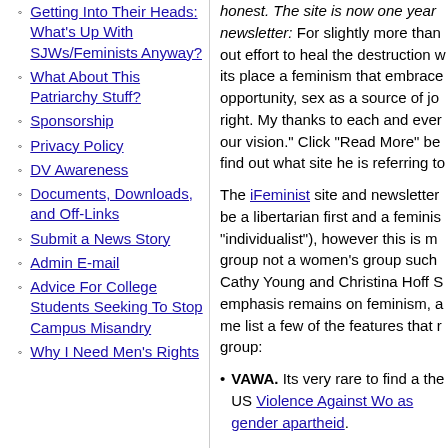Getting Into Their Heads: What's Up With SJWs/Feminists Anyway?
What About This Patriarchy Stuff?
Sponsorship
Privacy Policy
DV Awareness
Documents, Downloads, and Off-Links
Submit a News Story
Admin E-mail
Advice For College Students Seeking To Stop Campus Misandry
Why I Need Men's Rights
honest. The site is now one year newsletter: For slightly more than out effort to heal the destruction w its place a feminism that embrace opportunity, sex as a source of jo right. My thanks to each and ever our vision." Click "Read More" be find out what site he is referring to
The iFeminist site and newsletter be a libertarian first and a feminis "individualist"), however this is m group not a women's group such Cathy Young and Christina Hoff S emphasis remains on feminism, a me list a few of the features that r group:
VAWA. Its very rare to find a the US Violence Against Wo as gender apartheid.